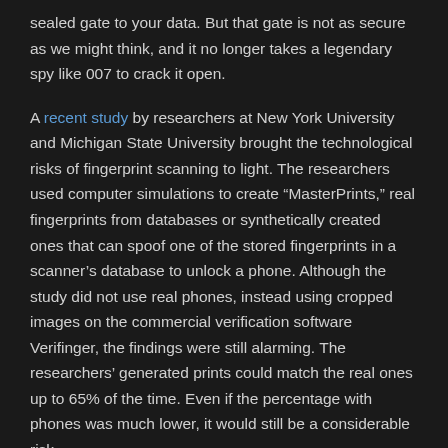sealed gate to your data. But that gate is not as secure as we might think, and it no longer takes a legendary spy like 007 to crack it open.
A recent study by researchers at New York University and Michigan State University brought the technological risks of fingerprint scanning to light. The researchers used computer simulations to create “MasterPrints,” real fingerprints from databases or synthetically created ones that can spoof one of the stored fingerprints in a scanner’s database to unlock a phone. Although the study did not use real phones, instead using cropped images on the commercial verification software Verifinger, the findings were still alarming. The researchers’ generated prints could match the real ones up to 65% of the time. Even if the percentage with phones was much lower, it would still be a considerable risk.
One of the greatest weaknesses of your phone’s fingerprint scanning technology is that it doesn’t actually take a full fingerprint scan. Those would be nearly